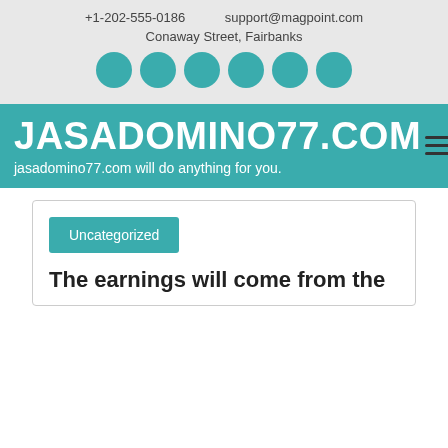+1-202-555-0186   support@magpoint.com
Conaway Street, Fairbanks
JASADOMINO77.COM
jasadomino77.com will do anything for you.
Uncategorized
The earnings will come from the